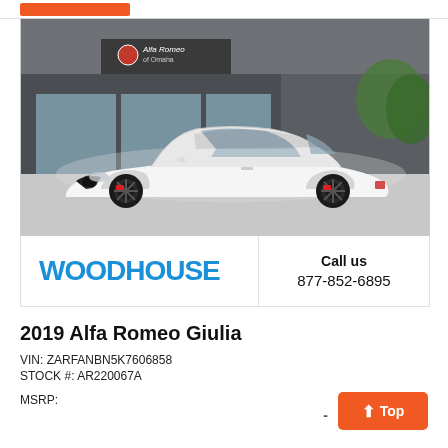[Figure (photo): White Alfa Romeo Giulia sedan parked in front of Alfa Romeo dealership building with glass facade]
[Figure (logo): Woodhouse dealership logo in blue text]
Call us
877-852-6895
2019 Alfa Romeo Giulia
VIN: ZARFANBN5K7606858
STOCK #: AR220067A
MSRP: